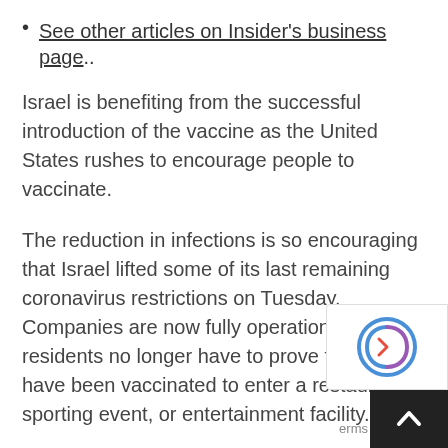See other articles on Insider's business page..
Israel is benefiting from the successful introduction of the vaccine as the United States rushes to encourage people to vaccinate.
The reduction in infections is so encouraging that Israel lifted some of its last remaining coronavirus restrictions on Tuesday. Companies are now fully operational and residents no longer have to prove that they have been vaccinated to enter a restaurant, sporting event, or entertainment facility.
Even before the new rules were enacted, Israeli schools were completely open, masks were no longer needed outdoors, and large-scale rallies were held across the country. Currently, Israel's